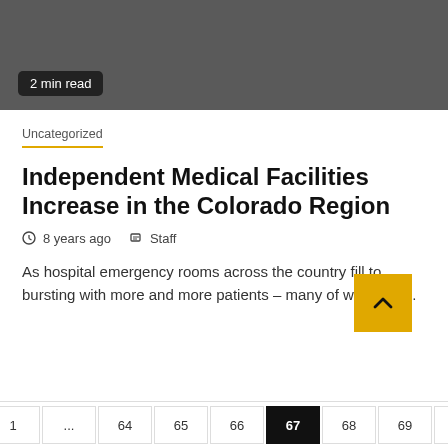[Figure (photo): Dark gray header image area with a '2 min read' badge in the lower left]
Uncategorized
Independent Medical Facilities Increase in the Colorado Region
⊙ 8 years ago  ✎ Staff
As hospital emergency rooms across the country fill to bursting with more and more patients – many of whom go...
Previous  1  ...  64  65  66  67  68  69  70  ...